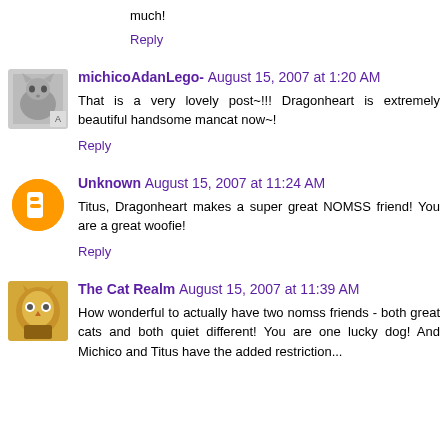I am honoured and touched by your post. Thank you so much!
Reply
michico∏Adan∏Lego-∏∏∏∏∏∏∏∏ August 15, 2007 at 1:20 AM
That is a very lovely post~!!! Dragonheart is extremely beautiful handsome mancat now~!
Reply
Unknown August 15, 2007 at 11:24 AM
Titus, Dragonheart makes a super great NOMSS friend! You are a great woofie!
Reply
The Cat Realm August 15, 2007 at 11:39 AM
How wonderful to actually have two nomss friends - both great cats and both quiet different! You are one lucky dog! And Michico and Titus have the added restriction...